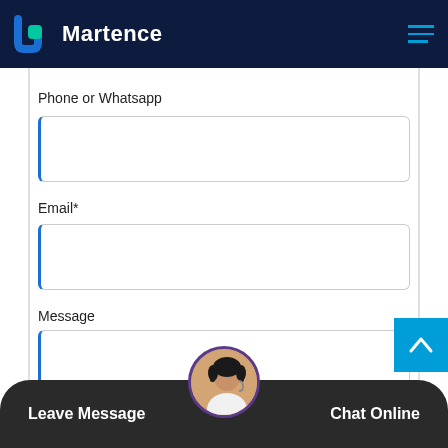Martence
Phone or Whatsapp
Email*
Message
Leave Message
Chat Online